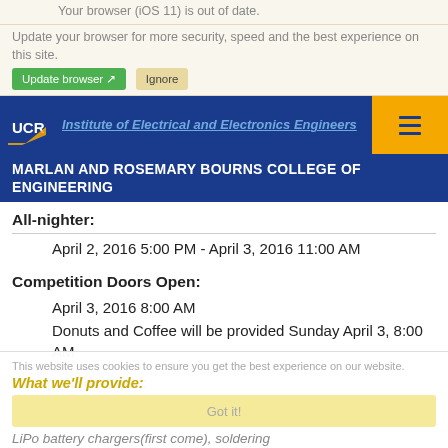Your browser (iOS 11) is out of date.
Update your browser for more security, speed and the best experience on this site.
[Figure (screenshot): UCR and IEEE logos with navigation bar showing Marlan and Rosemary Bourns College of Engineering header]
All-nighter:
April 2, 2016 5:00 PM - April 3, 2016 11:00 AM
Competition Doors Open:
April 3, 2016 8:00 AM
Donuts and Coffee will be provided Sunday April 3, 8:00 AM
Competition Time:
April 3, 2016 11:00 AM - 5:00 PM
What we'll provide:
LiPo battery chargers(first come), soldering